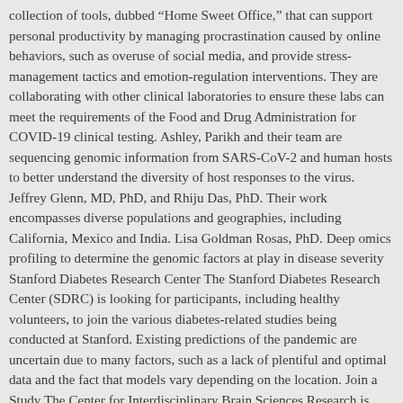collection of tools, dubbed “Home Sweet Office,” that can support personal productivity by managing procrastination caused by online behaviors, such as overuse of social media, and provide stress-management tactics and emotion-regulation interventions. They are collaborating with other clinical laboratories to ensure these labs can meet the requirements of the Food and Drug Administration for COVID-19 clinical testing. Ashley, Parikh and their team are sequencing genomic information from SARS-CoV-2 and human hosts to better understand the diversity of host responses to the virus. Jeffrey Glenn, MD, PhD, and Rhiju Das, PhD. Their work encompasses diverse populations and geographies, including California, Mexico and India. Lisa Goldman Rosas, PhD. Deep omics profiling to determine the genomic factors at play in disease severity Stanford Diabetes Research Center The Stanford Diabetes Research Center (SDRC) is looking for participants, including healthy volunteers, to join the various diabetes-related studies being conducted at Stanford. Existing predictions of the pandemic are uncertain due to many factors, such as a lack of plentiful and optimal data and the fact that models vary depending on the location. Join a Study The Center for Interdisciplinary Brain Sciences Research is always looking for participants for various research studies investigating the neurobiological, biological, and behavioral aspects of multiple